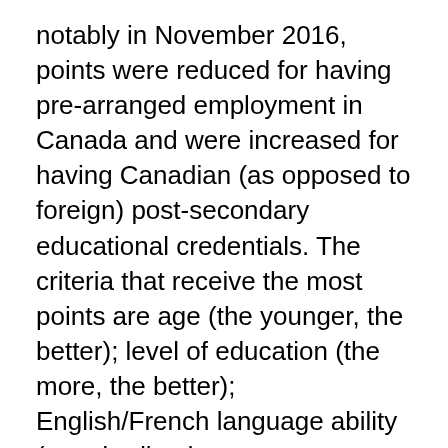notably in November 2016, points were reduced for having pre-arranged employment in Canada and were increased for having Canadian (as opposed to foreign) post-secondary educational credentials. The criteria that receive the most points are age (the younger, the better); level of education (the more, the better); English/French language ability (standardized test scores are required); and Canadian work experience (more is better).
The Express Entry pool is